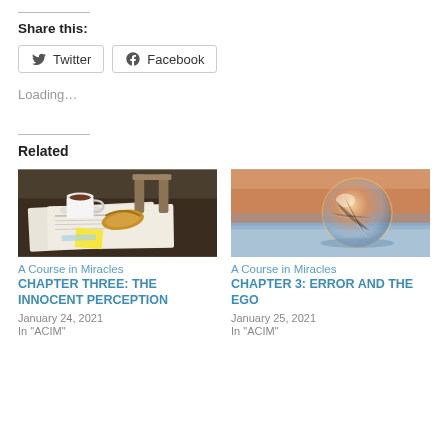Share this:
Twitter  Facebook
Loading…
Related
[Figure (photo): Coffee cup and croissant on a newspaper on a table]
A Course in Miracles
CHAPTER THREE: THE INNOCENT PERCEPTION
January 24, 2021
In "ACIM"
[Figure (photo): A glowing translucent sphere on icy blue surface with warm sunset light]
A Course in Miracles
CHAPTER 3: ERROR AND THE EGO
January 25, 2021
In "ACIM"